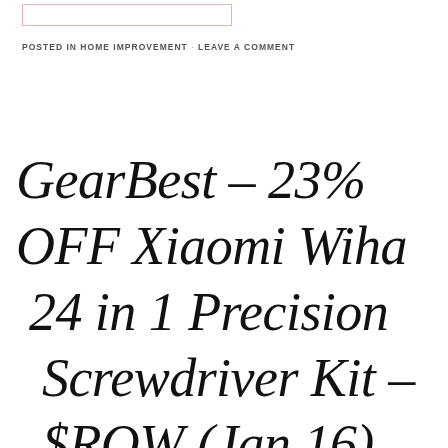[Figure (other): Decorative rectangular border box in light pink/salmon color]
POSTED IN HOME IMPROVEMENT · LEAVE A COMMENT
GearBest – 23% OFF Xiaomi Wiha 24 in 1 Precision Screwdriver Kit – $ROW (Jan 16)